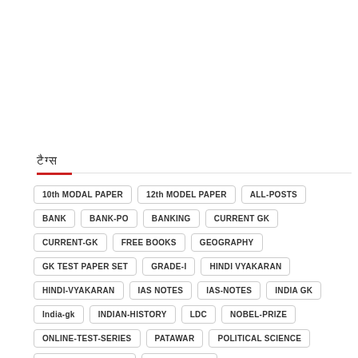टैग्स
10th MODAL PAPER
12th MODEL PAPER
ALL-POSTS
BANK
BANK-PO
BANKING
CURRENT GK
CURRENT-GK
FREE BOOKS
GEOGRAPHY
GK TEST PAPER SET
GRADE-I
HINDI VYAKARAN
HINDI-VYAKARAN
IAS NOTES
IAS-NOTES
INDIA GK
India-gk
INDIAN-HISTORY
LDC
NOBEL-PRIZE
ONLINE-TEST-SERIES
PATAWAR
POLITICAL SCIENCE
POLITICAL-SCIENCE
PSYCHOLOGY